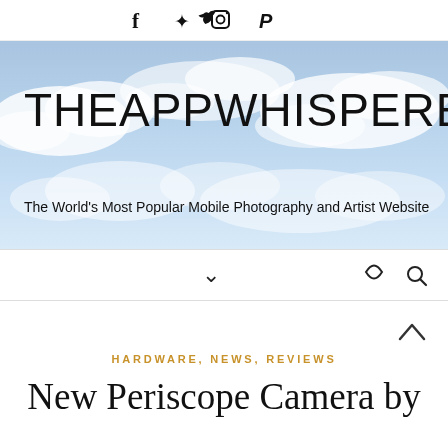f  twitter  instagram  pinterest
[Figure (illustration): Sky background with clouds, overlaid with site title THEAPPWHISPERER and subtitle 'The World's Most Popular Mobile Photography and Artist Website']
THEAPPWHISPERER
The World's Most Popular Mobile Photography and Artist Website
HARDWARE, NEWS, REVIEWS
New Periscope Camera by